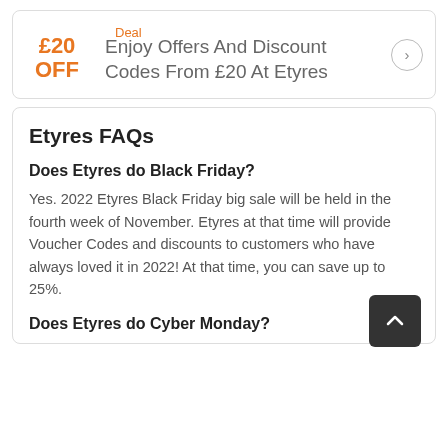Deal
£20 OFF
Enjoy Offers And Discount Codes From £20 At Etyres
Etyres FAQs
Does Etyres do Black Friday?
Yes. 2022 Etyres Black Friday big sale will be held in the fourth week of November. Etyres at that time will provide Voucher Codes and discounts to customers who have always loved it in 2022! At that time, you can save up to 25%.
Does Etyres do Cyber Monday?